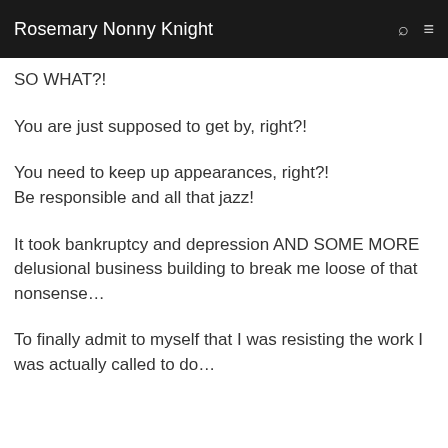Rosemary Nonny Knight
SO WHAT?!
You are just supposed to get by, right?!
You need to keep up appearances, right?! Be responsible and all that jazz!
It took bankruptcy and depression AND SOME MORE delusional business building to break me loose of that nonsense…
To finally admit to myself that I was resisting the work I was actually called to do…